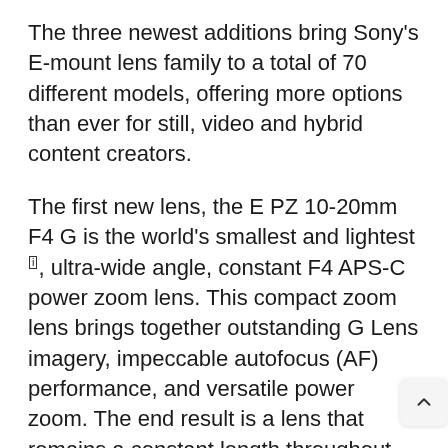The three newest additions bring Sony's E-mount lens family to a total of 70 different models, offering more options than ever for still, video and hybrid content creators.
The first new lens, the E PZ 10-20mm F4 G is the world's smallest and lightest[i], ultra-wide angle, constant F4 APS-C power zoom lens. This compact zoom lens brings together outstanding G Lens imagery, impeccable autofocus (AF) performance, and versatile power zoom. The end result is a lens that remains a constant length throughout the zoom range and offers refined visual expression and operability that only a pow zoom lens can provide.